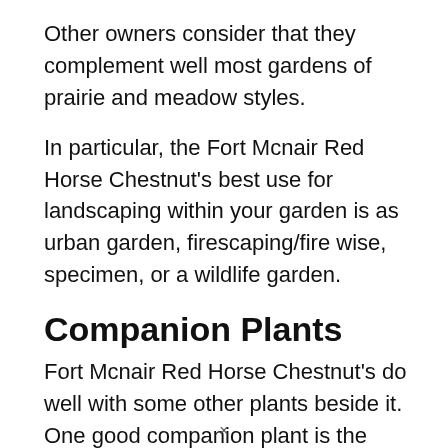Other owners consider that they complement well most gardens of prairie and meadow styles.
In particular, the Fort Mcnair Red Horse Chestnut's best use for landscaping within your garden is as urban garden, firescaping/fire wise, specimen, or a wildlife garden.
Companion Plants
Fort Mcnair Red Horse Chestnut's do well with some other plants beside it. One good companion plant is the Cercis canadensis, which will pair up nicely with your leafy friend.